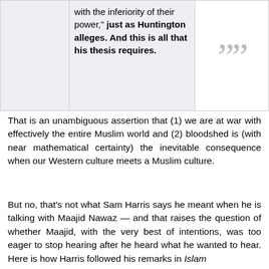|  | with the inferiority of their power," just as Huntington alleges. And this is all that his thesis requires. | "" |
That is an unambiguous assertion that (1) we are at war with effectively the entire Muslim world and (2) bloodshed is (with near mathematical certainty) the inevitable consequence when our Western culture meets a Muslim culture.
But no, that's not what Sam Harris says he meant when he is talking with Maajid Nawaz — and that raises the question of whether Maajid, with the very best of intentions, was too eager to stop hearing after he heard what he wanted to hear. Here is how Harris followed his remarks in Islam